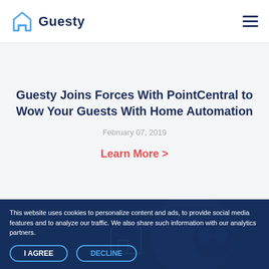Guesty
Guesty Joins Forces With PointCentral to Wow Your Guests With Home Automation
February 07, 2019
Learn More >
This website uses cookies to personalize content and ads, to provide social media features and to analyze our traffic. We also share such information with our analytics partners.
I AGREE
DECLINE